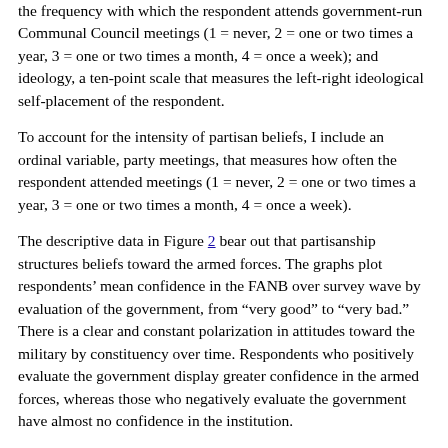the frequency with which the respondent attends government-run Communal Council meetings (1 = never, 2 = one or two times a year, 3 = one or two times a month, 4 = once a week); and ideology, a ten-point scale that measures the left-right ideological self-placement of the respondent.
To account for the intensity of partisan beliefs, I include an ordinal variable, party meetings, that measures how often the respondent attended meetings (1 = never, 2 = one or two times a year, 3 = one or two times a month, 4 = once a week).
The descriptive data in Figure 2 bear out that partisanship structures beliefs toward the armed forces. The graphs plot respondents' mean confidence in the FANB over survey wave by evaluation of the government, from “very good” to “very bad.” There is a clear and constant polarization in attitudes toward the military by constituency over time. Respondents who positively evaluate the government display greater confidence in the armed forces, whereas those who negatively evaluate the government have almost no confidence in the institution.
Figure 2
Confidence in the FANB by approval of presidential performance (2006–2014)